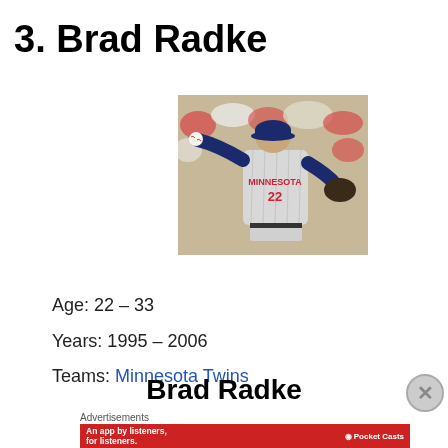3. Brad Radke
[Figure (photo): Brad Radke pitching in Minnesota Twins uniform #22, mid-windup, crowd in background]
Age: 22 – 33
Years: 1995 – 2006
Teams: Minnesota Twins
Brad Radke
Advertisements
An app by listeners, for listeners. Pocket Casts